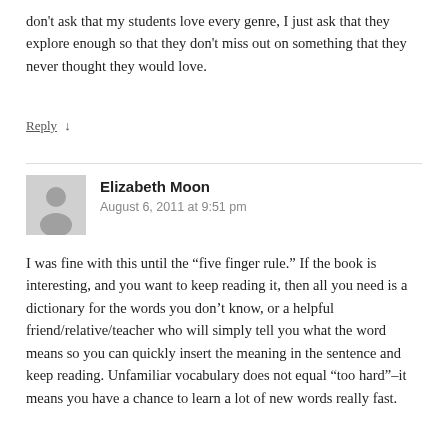don't ask that my students love every genre, I just ask that they explore enough so that they don't miss out on something that they never thought they would love.
Reply ↓
Elizabeth Moon
August 6, 2011 at 9:51 pm
I was fine with this until the “five finger rule.” If the book is interesting, and you want to keep reading it, then all you need is a dictionary for the words you don’t know, or a helpful friend/relative/teacher who will simply tell you what the word means so you can quickly insert the meaning in the sentence and keep reading. Unfamiliar vocabulary does not equal “too hard”–it means you have a chance to learn a lot of new words really fast.